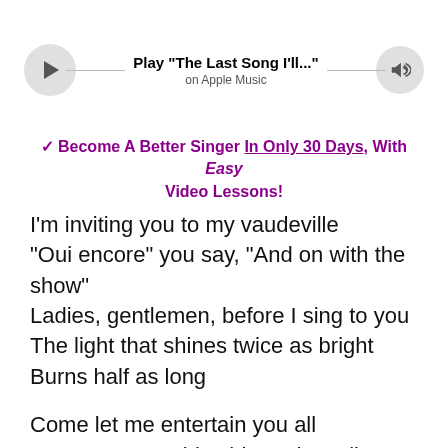[Figure (other): Music player bar with play button, track title 'Play "The Last Song I\'ll..."', subtitle 'on Apple Music', and volume button]
✓ Become A Better Singer In Only 30 Days, With Easy Video Lessons!
I'm inviting you to my vaudeville
"Oui encore" you say, "And on with the show"
Ladies, gentlemen, before I sing to you
The light that shines twice as bright
Burns half as long
Come let me entertain you all
Leave your troubles big and small
Life's a ball, life's a ball
Hitch a ride on my crooked merry-go-round